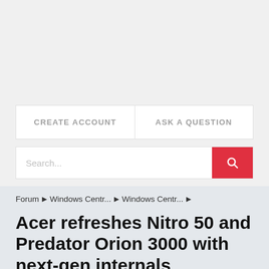CREATE ACCOUNT
ASK A QUESTION
Search...
Forum ▶ Windows Centr... ▶ Windows Centr... ▶
Acer refreshes Nitro 50 and Predator Orion 3000 with next-gen internals